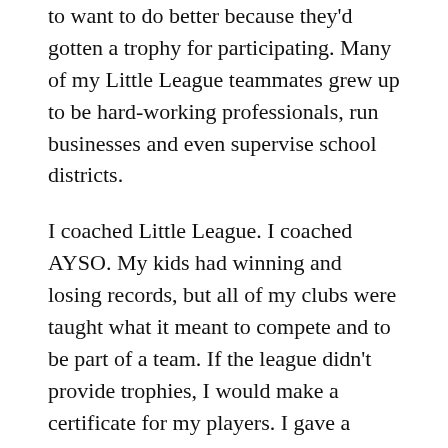to want to do better because they'd gotten a trophy for participating. Many of my Little League teammates grew up to be hard-working professionals, run businesses and even supervise school districts.
I coached Little League. I coached AYSO. My kids had winning and losing records, but all of my clubs were taught what it meant to compete and to be part of a team. If the league didn't provide trophies, I would make a certificate for my players. I gave a Sportsmanship Award. I gave a Best Attitude certificate, and then a series of funny, personalized “awards” like the “Timex Award” for a player who took a licking and kept on ticking. These awards were given at a group event, with appreciation, understanding and humor.
Not everyone on our team was great, but all of them made some sort of contribution — even if their